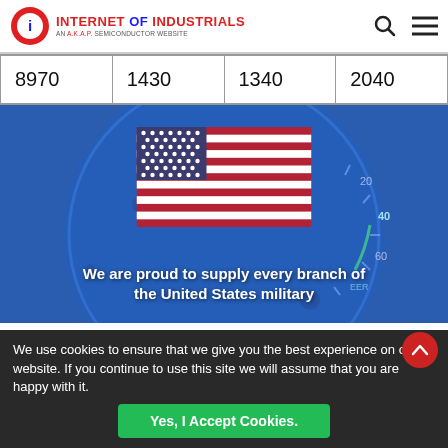INTERNET OF INDUSTRIALS — AN A.K.A.P. SEMICONDUCTOR WEBSITE
| 8970 | 1430 | 1340 | 2040 |
[Figure (photo): Banner image showing a blue gauge/speedometer background with a US flag in the center. Text reads: We are proud to supply every branch of the United States military]
We use cookies to ensure that we give you the best experience on our website. If you continue to use this site we will assume that you are happy with it.
Yes, I Accept Cookies.